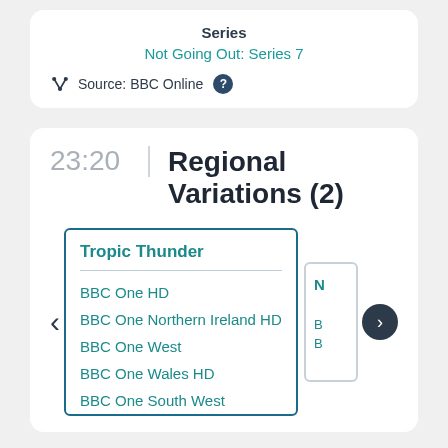Series
Not Going Out: Series 7
Source: BBC Online ?
23:20
Regional Variations (2)
Tropic Thunder
BBC One HD
BBC One Northern Ireland HD
BBC One West
BBC One Wales HD
BBC One South West